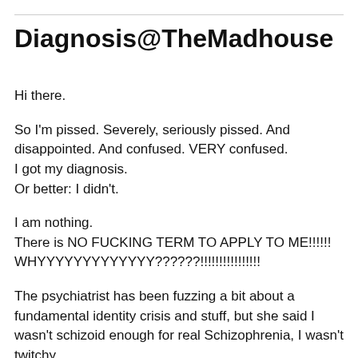Diagnosis@TheMadhouse
Hi there.
So I'm pissed. Severely, seriously pissed. And disappointed. And confused. VERY confused.
I got my diagnosis.
Or better: I didn't.
I am nothing.
There is NO FUCKING TERM TO APPLY TO ME!!!!!!
WHYYYYYYYYYYYYYY??????!!!!!!!!!!!!!!!!
The psychiatrist has been fuzzing a bit about a fundamental identity crisis and stuff, but she said I wasn't schizoid enough for real Schizophrenia, I wasn't twitchy